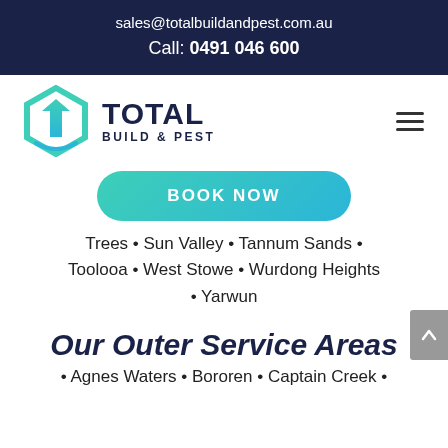sales@totalbuildandpest.com.au
Call: 0491 046 600
[Figure (logo): Total Build & Pest hexagon logo with teal T icon and dark navy text]
BOOK NOW
Trees • Sun Valley • Tannum Sands • Toolooa • West Stowe • Wurdong Heights • Yarwun
Our Outer Service Areas
• Agnes Waters • Bororen • Captain Creek •